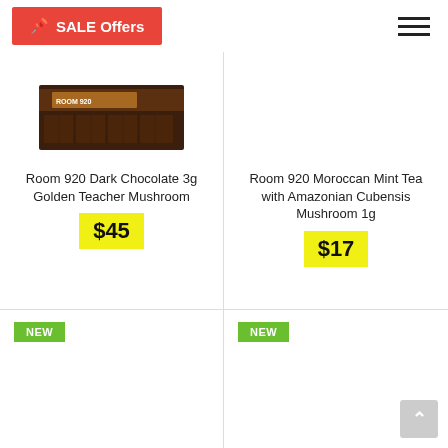SALE Offers
[Figure (photo): Room 920 dark chocolate bar product image]
Room 920 Dark Chocolate 3g Golden Teacher Mushroom
$45
Room 920 Moroccan Mint Tea with Amazonian Cubensis Mushroom 1g
$17
NEW
NEW